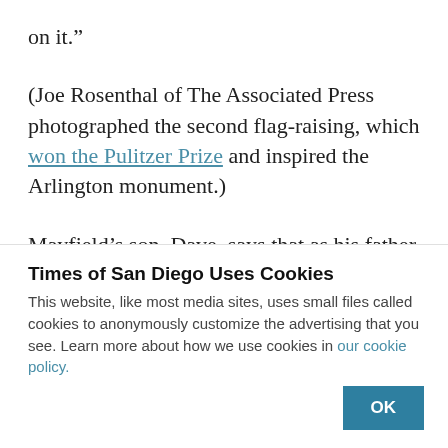on it.”
(Joe Rosenthal of The Associated Press photographed the second flag-raising, which won the Pulitzer Prize and inspired the Arlington monument.)
Mayfield’s son, Dave, says that as his father was in line to get off the landing craft, the Marine in front
Times of San Diego Uses Cookies
This website, like most media sites, uses small files called cookies to anonymously customize the advertising that you see. Learn more about how we use cookies in our cookie policy.